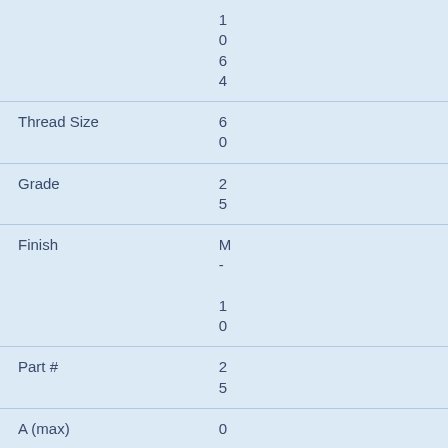| Property | Value |
| --- | --- |
|  | 1064 |
| Thread Size | 60 |
| Grade | 25 |
| Finish | M-10 |
| Part # | 25 |
| A (max) | 0.2 |